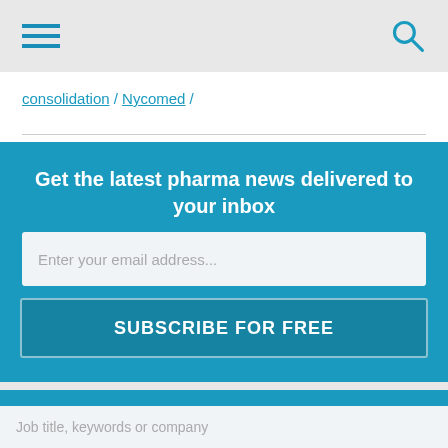hamburger menu | search icon
consolidation / Nycomed /
Get the latest pharma news delivered to your inbox
Enter your email address...
SUBSCRIBE FOR FREE
What job are you looking for?
Job title, keywords or company